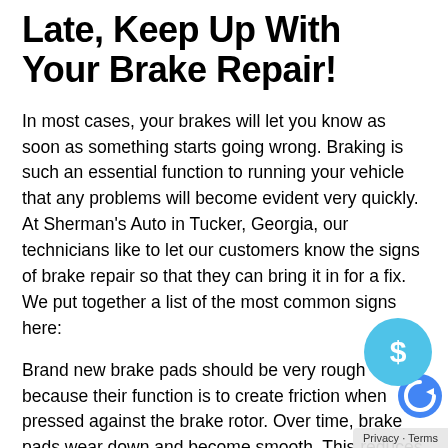Late, Keep Up With Your Brake Repair!
In most cases, your brakes will let you know as soon as something starts going wrong. Braking is such an essential function to running your vehicle that any problems will become evident very quickly. At Sherman's Auto in Tucker, Georgia, our technicians like to let our customers know the signs of brake repair so that they can bring it in for a fix. We put together a list of the most common signs here:
Brand new brake pads should be very rough because their function is to create friction when pressed against the brake rotor. Over time, brake pads wear down and become smooth. This reduces the friction, and it takes longer to slow your wheels. What you will notice is that your vehicle has a longer stopping time and you have to start applying your brakes earlier and earlier to stop in time. Your brakes will feel sluggish and ineffective. While you're driving, this